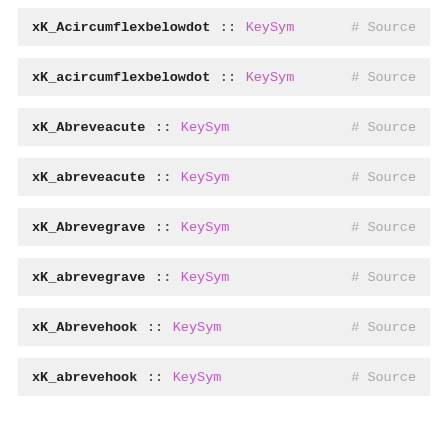xK_Acircumflexbelowdot :: KeySym  # Source
xK_acircumflexbelowdot :: KeySym  # Source
xK_Abreveacute :: KeySym  # Source
xK_abreveacute :: KeySym  # Source
xK_Abrevegrave :: KeySym  # Source
xK_abrevegrave :: KeySym  # Source
xK_Abrevehook :: KeySym  # Source
xK_abrevehook :: KeySym  # Source